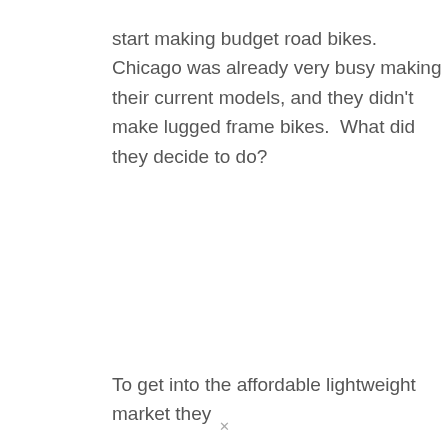start making budget road bikes.  Chicago was already very busy making their current models, and they didn't make lugged frame bikes.  What did they decide to do?
To get into the affordable lightweight market they